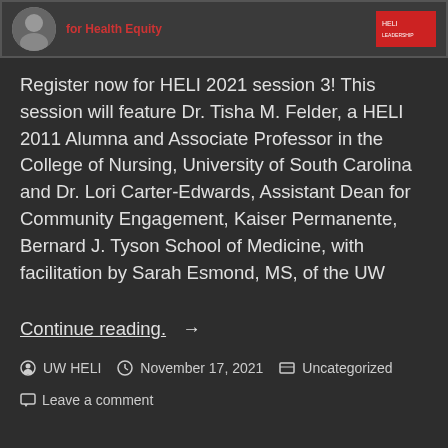[Figure (photo): Header banner with circular avatar photo, red 'for Health Equity' text, and a red logo/badge on the right]
Register now for HELI 2021 session 3! This session will feature Dr. Tisha M. Felder, a HELI 2011 Alumna and Associate Professor in the College of Nursing, University of South Carolina and Dr. Lori Carter-Edwards, Assistant Dean for Community Engagement, Kaiser Permanente, Bernard J. Tyson School of Medicine, with facilitation by Sarah Esmond, MS, of the UW
Continue reading. →
UW HELI   November 17, 2021   Uncategorized
Leave a comment